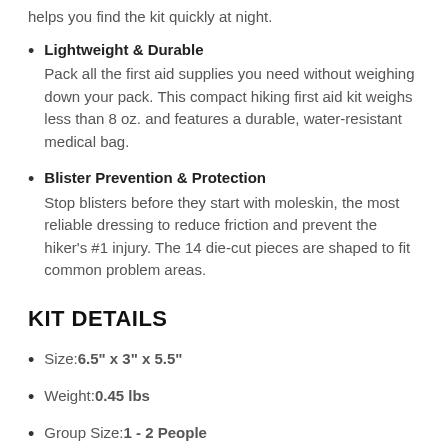helps you find the kit quickly at night.
Lightweight & Durable
Pack all the first aid supplies you need without weighing down your pack. This compact hiking first aid kit weighs less than 8 oz. and features a durable, water-resistant medical bag.
Blister Prevention & Protection
Stop blisters before they start with moleskin, the most reliable dressing to reduce friction and prevent the hiker's #1 injury. The 14 die-cut pieces are shaped to fit common problem areas.
KIT DETAILS
Size:6.5" x 3" x 5.5"
Weight:0.45 lbs
Group Size:1 - 2 People